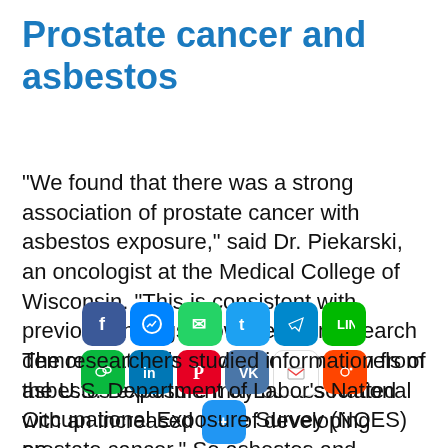Prostate cancer and asbestos
“We found that there was a strong association of prostate cancer with asbestos exposure,” said Dr. Piekarski, an oncologist at the Medical College of Wisconsin. “This is consistent with previous findings; however, our research demonstrates that even very low levels of asbestos exposure may be associated with an increased risk of developing prostate cancer.” So asbestos and prostate cancer are correlated somehow.
[Figure (other): Social media share buttons: Facebook, Messenger, WhatsApp, Twitter, Telegram, LINE, WeChat, LinkedIn, Pinterest, VK, Gmail, Reddit, Share]
The researchers studied information from the U.S. Department of Labor’s National Occupational Exposure Survey (NOES) on